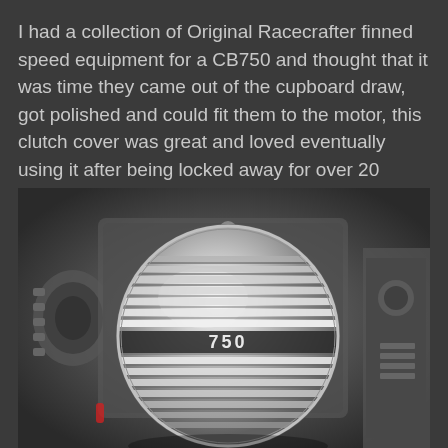I had a collection of Original Racecrafter finned speed equipment for a CB750 and thought that it was time they came out of the cupboard draw, got polished and could fit them to the motor, this clutch cover was great and loved eventually using it after being locked away for over 20 years.
[Figure (photo): Close-up photograph of a polished chrome finned clutch cover on a CB750 motorcycle engine, showing the '750' emblem and horizontal cooling fins with a mirror-like finish.]